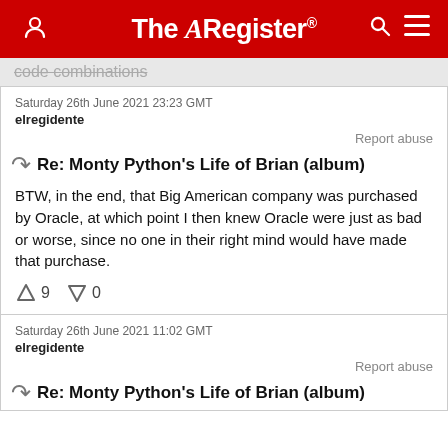The Register
code combinations
Saturday 26th June 2021 23:23 GMT
elregidente
Report abuse
Re: Monty Python's Life of Brian (album)
BTW, in the end, that Big American company was purchased by Oracle, at which point I then knew Oracle were just as bad or worse, since no one in their right mind would have made that purchase.
9  0
Saturday 26th June 2021 11:02 GMT
elregidente
Report abuse
Re: Monty Python's Life of Brian (album)